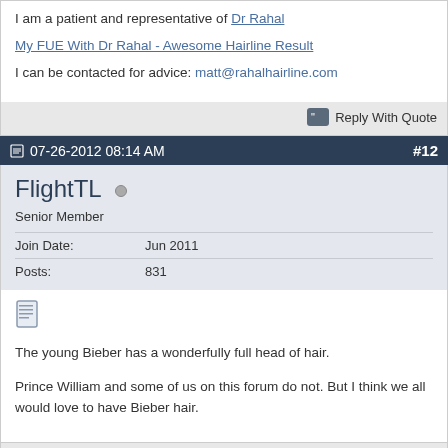I am a patient and representative of Dr Rahal
My FUE With Dr Rahal - Awesome Hairline Result
I can be contacted for advice: matt@rahalhairline.com
Reply With Quote
07-26-2012 08:14 AM #12
FlightTL
Senior Member
Join Date: Jun 2011
Posts: 831
The young Bieber has a wonderfully full head of hair.

Prince William and some of us on this forum do not. But I think we all would love to have Bieber hair.
Reply With Quote
07-26-2012 11:37 AM #13